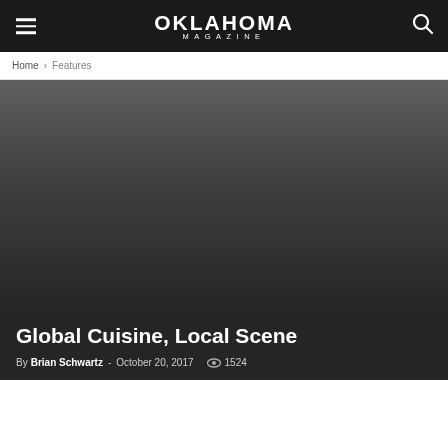OKLAHOMA MAGAZINE
Home › Features
[Figure (photo): Dark gradient hero image background for article]
Global Cuisine, Local Scene
By Brian Schwartz - October 20, 2017  1524